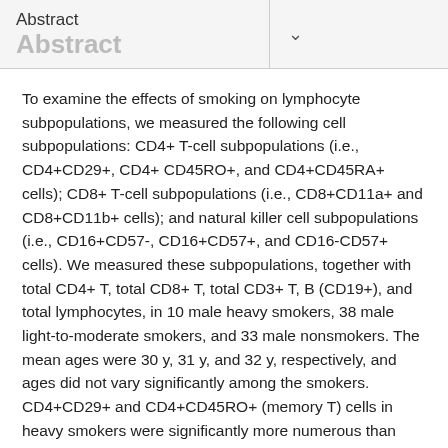Abstract
To examine the effects of smoking on lymphocyte subpopulations, we measured the following cell subpopulations: CD4+ T-cell subpopulations (i.e., CD4+CD29+, CD4+ CD45RO+, and CD4+CD45RA+ cells); CD8+ T-cell subpopulations (i.e., CD8+CD11a+ and CD8+CD11b+ cells); and natural killer cell subpopulations (i.e., CD16+CD57-, CD16+CD57+, and CD16-CD57+ cells). We measured these subpopulations, together with total CD4+ T, total CD8+ T, total CD3+ T, B (CD19+), and total lymphocytes, in 10 male heavy smokers, 38 male light-to-moderate smokers, and 33 male nonsmokers. The mean ages were 30 y, 31 y, and 32 y, respectively, and ages did not vary significantly among the smokers. CD4+CD29+ and CD4+CD45RO+ (memory T) cells in heavy smokers were significantly more numerous than those in light-to-moderate smokers and nonsmokers. No other memory T cell...